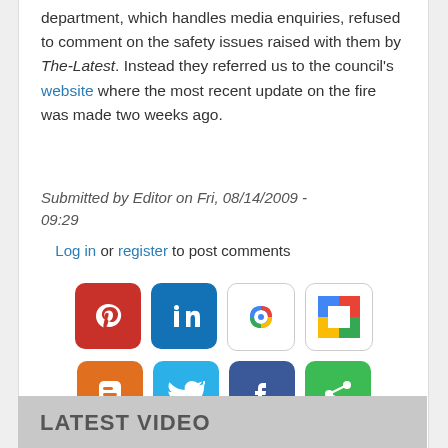department, which handles media enquiries, refused to comment on the safety issues raised with them by The-Latest. Instead they referred us to the council's website where the most recent update on the fire was made two weeks ago.
Submitted by Editor on Fri, 08/14/2009 - 09:29
Log in or register to post comments
[Figure (infographic): Row of social media sharing icons: Pinterest, LinkedIn, Google (Workspace), ShareThis, Blogger, Twitter, Facebook, Share/Other]
RELATED POSTS
LATEST VIDEO